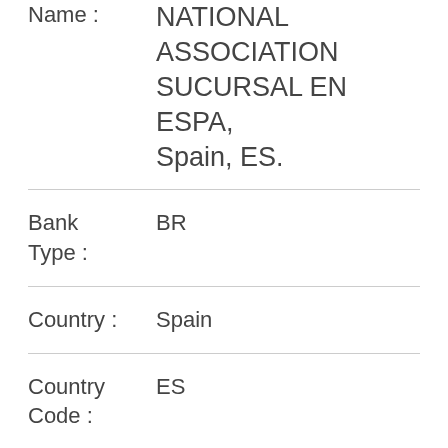Name : NATIONAL ASSOCIATION SUCURSAL EN ESPA, Spain, ES.
Bank Type : BR
Country : Spain
Country Code : ES
Address : Spain, ES